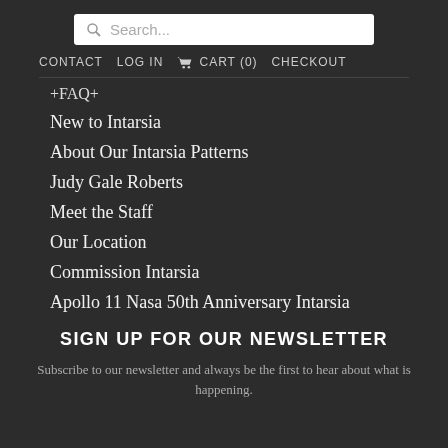Search...
CONTACT  LOG IN  CART (0)  CHECKOUT
+FAQ+
New to Intarsia
About Our Intarsia Patterns
Judy Gale Roberts
Meet the Staff
Our Location
Commission Intarsia
Apollo 11 Nasa 50th Anniversary Intarsia
SIGN UP FOR OUR NEWSLETTER
Subscribe to our newsletter and always be the first to hear about what is happening.